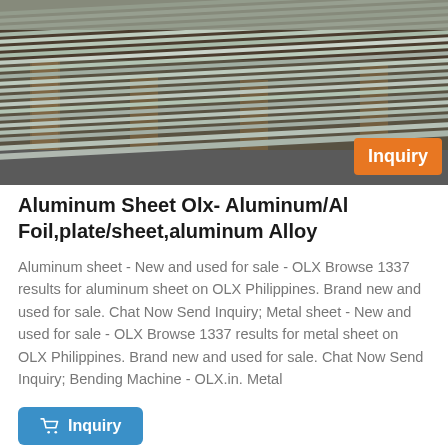[Figure (photo): Stack of aluminum/metal sheets viewed at an angle, showing layered grey metallic sheets with brown wooden supports, with an orange 'Inquiry' badge overlay in the bottom-right corner]
Aluminum Sheet Olx- Aluminum/Al Foil,plate/sheet,aluminum Alloy
Aluminum sheet - New and used for sale - OLX Browse 1337 results for aluminum sheet on OLX Philippines. Brand new and used for sale. Chat Now Send Inquiry; Metal sheet - New and used for sale - OLX Browse 1337 results for metal sheet on OLX Philippines. Brand new and used for sale. Chat Now Send Inquiry; Bending Machine - OLX.in. Metal